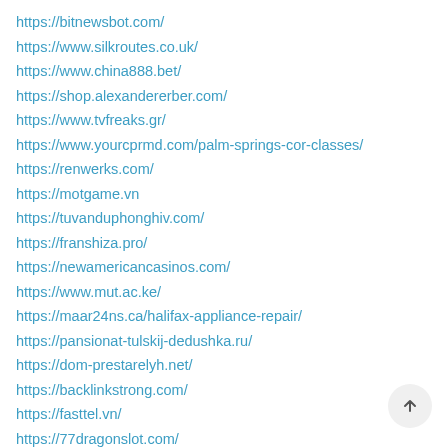https://bitnewsbot.com/
https://www.silkroutes.co.uk/
https://www.china888.bet/
https://shop.alexandererber.com/
https://www.tvfreaks.gr/
https://www.yourcprmd.com/palm-springs-cor-classes/
https://renwerks.com/
https://motgame.vn
https://tuvanduphonghiv.com/
https://franshiza.pro/
https://newamericancasinos.com/
https://www.mut.ac.ke/
https://maar24ns.ca/halifax-appliance-repair/
https://pansionat-tulskij-dedushka.ru/
https://dom-prestarelyh.net/
https://backlinkstrong.com/
https://fasttel.vn/
https://77dragonslot.com/